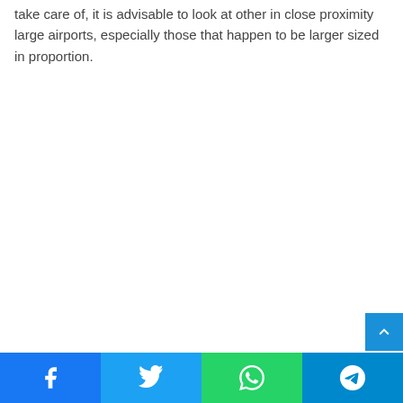take care of, it is advisable to look at other in close proximity large airports, especially those that happen to be larger sized in proportion.
[Figure (other): Scroll-to-top button, blue square with upward chevron arrow, positioned at bottom right above share bar]
[Figure (other): Social share bar with four buttons: Facebook (blue), Twitter (light blue), WhatsApp (green), Telegram (dark blue), each with respective icon]